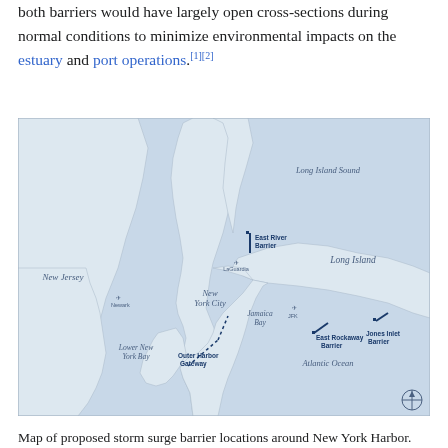both barriers would have largely open cross-sections during normal conditions to minimize environmental impacts on the estuary and port operations.[1][2]
[Figure (map): Map of proposed storm surge barrier locations around New York Harbor, showing East River Barrier, East Rockaway Barrier, Jones Inlet Barrier, Outer Harbor Gateway, and geographic labels including Long Island Sound, Long Island, New Jersey, New York City, Jamaica Bay, Lower New York Bay, Atlantic Ocean, LaGuardia, JFK, Newark airports.]
Map of proposed storm surge barrier locations around New York Harbor.